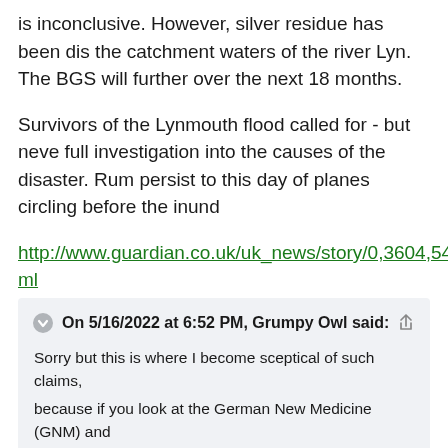is inconclusive. However, silver residue has been dis the catchment waters of the river Lyn. The BGS will further over the next 18 months.
Survivors of the Lynmouth flood called for - but neve full investigation into the causes of the disaster. Rum persist to this day of planes circling before the inund
http://www.guardian.co.uk/uk_news/story/0,3604,54 ml
On 5/16/2022 at 6:52 PM, Grumpy Owl said: Sorry but this is where I become sceptical of such claims, because if you look at the German New Medicine (GNM) and Terrain Theory approaches, then there are no such things